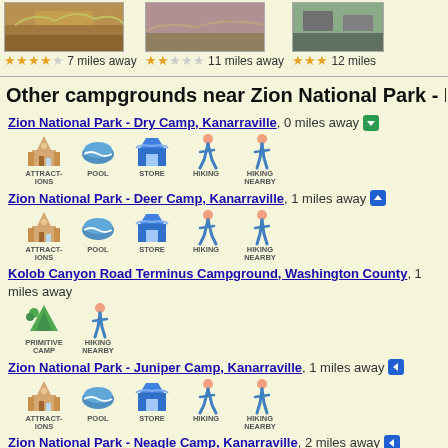[Figure (photo): Three campground thumbnail photos with star ratings: first 4 stars 7 miles away, second (partial) 2 stars 11 miles away, third (partial) 3 stars 12 miles away]
Other campgrounds near Zion National Park - Ringt...
Zion National Park - Dry Camp, Kanarraville, 0 miles away
[Figure (infographic): Icons: Attractions, Pool, Store, Hiking, Hiking Nearby]
Zion National Park - Deer Camp, Kanarraville, 1 miles away
[Figure (infographic): Icons: Attractions, Pool, Store, Hiking, Hiking Nearby]
Kolob Canyon Road Terminus Campground, Washington County, 1 miles away
[Figure (infographic): Icons: Primitive Camp, Hiking Nearby]
Zion National Park - Juniper Camp, Kanarraville, 1 miles away
[Figure (infographic): Icons: Attractions, Pool, Store, Hiking, Hiking Nearby]
Zion National Park - Neagle Camp, Kanarraville, 2 miles away
[Figure (infographic): Icons: Attractions, Hiking, Hiking Nearby]